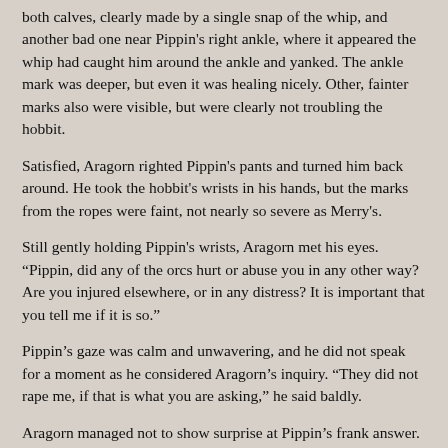both calves, clearly made by a single snap of the whip, and another bad one near Pippin's right ankle, where it appeared the whip had caught him around the ankle and yanked. The ankle mark was deeper, but even it was healing nicely. Other, fainter marks also were visible, but were clearly not troubling the hobbit.
Satisfied, Aragorn righted Pippin's pants and turned him back around. He took the hobbit's wrists in his hands, but the marks from the ropes were faint, not nearly so severe as Merry's.
Still gently holding Pippin's wrists, Aragorn met his eyes. “Pippin, did any of the orcs hurt or abuse you in any other way? Are you injured elsewhere, or in any distress? It is important that you tell me if it is so.”
Pippin’s gaze was calm and unwavering, and he did not speak for a moment as he considered Aragorn’s inquiry. “They did not rape me, if that is what you are asking,” he said baldly.
Aragorn managed not to show surprise at Pippin’s frank answer. “Good,” he said. “I am glad of it. There are other ways to abuse prisoners, though, ways that do not damage them physically. You may tell me anything, Pippin, and it will go no further than we two. Is there anything else you want to say to me?”
Pippin’s face softened. “No, really, they did not harm me,” he said earnestly. “Is my silly cousin worrying about this? They were in great haste, Aragorn, and in great fear of their masters. Merry was there for the worst of things, with Grishákh.” He shuddered slightly. “We will tell you of it later. But you need not worry that I was otherwise harmed, for I was not.” He added in a low voice, “We…”